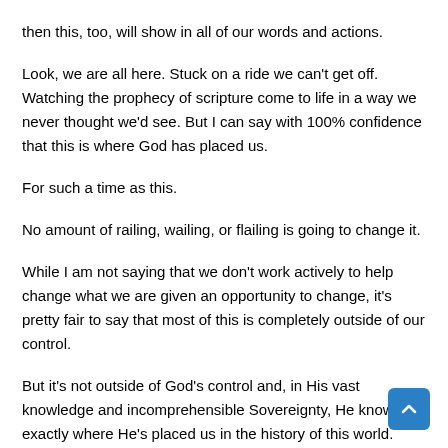then this, too, will show in all of our words and actions.
Look, we are all here. Stuck on a ride we can't get off. Watching the prophecy of scripture come to life in a way we never thought we'd see. But I can say with 100% confidence that this is where God has placed us.
For such a time as this.
No amount of railing, wailing, or flailing is going to change it.
While I am not saying that we don't work actively to help change what we are given an opportunity to change, it's pretty fair to say that most of this is completely outside of our control.
But it's not outside of God's control and, in His vast knowledge and incomprehensible Sovereignty, He knows exactly where He's placed us in the history of this world.